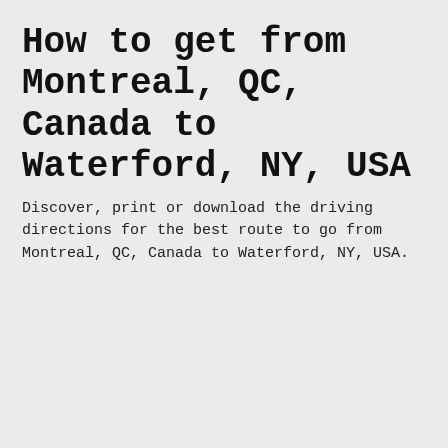How to get from Montreal, QC, Canada to Waterford, NY, USA
Discover, print or download the driving directions for the best route to go from Montreal, QC, Canada to Waterford, NY, USA.